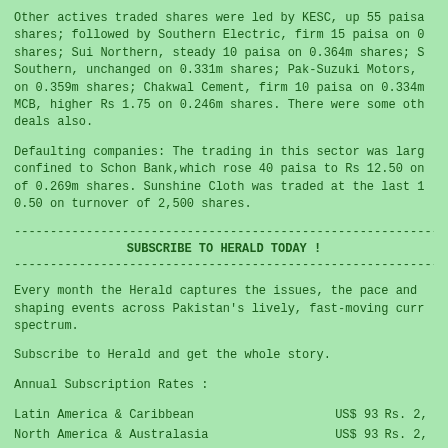Other actives traded shares were led by KESC, up 55 paisa shares; followed by Southern Electric, firm 15 paisa on 0 shares; Sui Northern, steady 10 paisa on 0.364m shares; S Southern, unchanged on 0.331m shares; Pak-Suzuki Motors, on 0.359m shares; Chakwal Cement, firm 10 paisa on 0.334m MCB, higher Rs 1.75 on 0.246m shares. There were some oth deals also.
Defaulting companies: The trading in this sector was larg confined to Schon Bank,which rose 40 paisa to Rs 12.50 on of 0.269m shares. Sunshine Cloth was traded at the last 1 0.50 on turnover of 2,500 shares.
- - - - - - - - - - - - - - - - - - - - - - - - - - - - - - - - - - - - - -
SUBSCRIBE TO HERALD TODAY !
- - - - - - - - - - - - - - - - - - - - - - - - - - - - - - - - - - - - - -
Every month the Herald captures the issues, the pace and shaping events across Pakistan's lively, fast-moving curr spectrum.
Subscribe to Herald and get the whole story.
Annual Subscription Rates :
| Region | USD | Rs |
| --- | --- | --- |
| Latin America & Caribbean | US$ 93 | Rs. 2, |
| North America & Australasia | US$ 93 | Rs. 2, |
| Africa, East Asia Europe & UK | US$ 63 | Rs. 1, |
| Middle East, Indian Sub-Continent & CAS | US$ 63 | Rs. 1 |